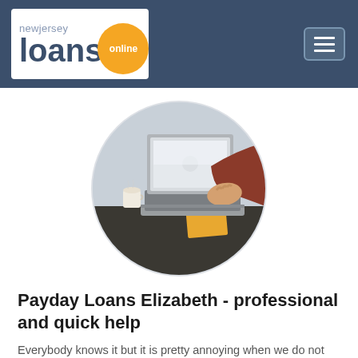newjersey loans online
[Figure (photo): Person using a MacBook laptop at a desk with a coffee cup, photographed in circular crop]
Payday Loans Elizabeth - professional and quick help
Everybody knows it but it is pretty annoying when we do not have enough of savings to deal with this situations. We'll help you get the money you need today. Choose Payday loans in